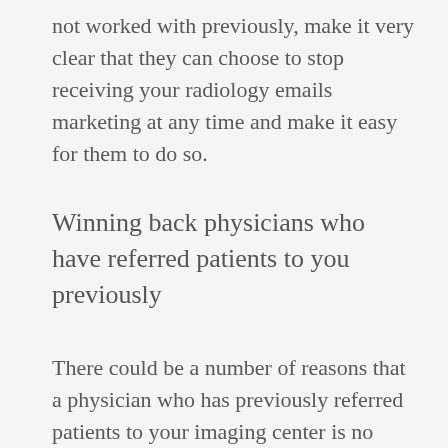not worked with previously, make it very clear that they can choose to stop receiving your radiology emails marketing at any time and make it easy for them to do so.
Winning back physicians who have referred patients to you previously
There could be a number of reasons that a physician who has previously referred patients to your imaging center is no longer doing so. Marketing to doctors in this category means